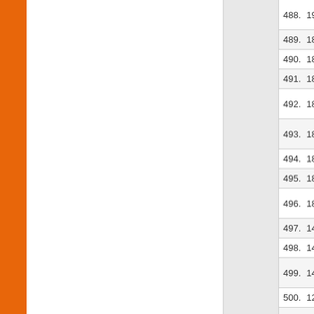| No. | Date | Title |
| --- | --- | --- |
| 488. | 19/07/2017 | Answer Key Test-2017 |
| 489. | 18/07/2017 | MPHIL/PHD |
| 490. | 18/07/2017 | MPHIL/PHD |
| 491. | 18/07/2017 | MPHIL/PHD |
| 492. | 18/07/2017 | MPHIL/PHD Urdu,Biotech |
| 493. | 18/07/2017 | Answer Key Test-2017 |
| 494. | 18/07/2017 | Answer Key |
| 495. | 18/07/2017 | MBA-Execut |
| 496. | 18/07/2017 | ADDITION & , 5th & 9th S |
| 497. | 14/07/2017 | Third list of c |
| 498. | 14/07/2017 | Second list o |
| 499. | 14/07/2017 | First list of ca |
| 500. | 12/07/2017 | Regarding M |
| 501. | 12/07/2017 | Question Bo Criminology) |